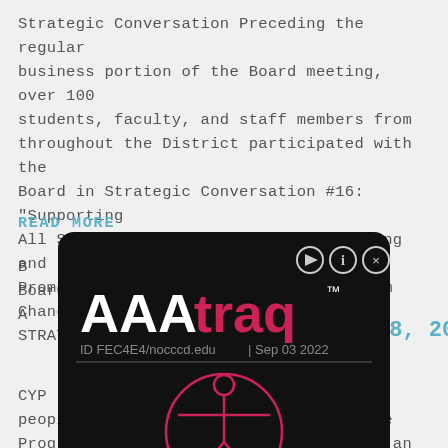Strategic Conversation Preceding the regular business portion of the Board meeting, over 100 students, faculty, and staff members from throughout the District participated with the Board in Strategic Conversation #16: "Supporting All Students: The Challenges of Creating and Promoting a Culture of Equity." Interim Chancellor's Report – Fred Williams STRATEG.
READ MORE
[Figure (screenshot): AAAtraq accessibility tracker overlay card with logo text 'AAAtraq TM', ID FEC4E4/nocccd.edu, date Sep 03 2022, and a Vitruvian man accessibility icon in red outline circle.]
B... The Board A...
N... pril 28, 2015
C... Audience CYP... ROGRAM – Two people prais... ypress College Puente Program and expressed their support of an English Instructor. LIBRARIANS' WORK WEEK – Cypress